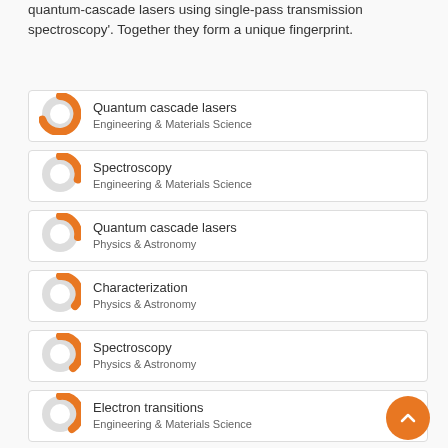quantum-cascade lasers using single-pass transmission spectroscopy'. Together they form a unique fingerprint.
Quantum cascade lasers — Engineering & Materials Science
Spectroscopy — Engineering & Materials Science
Quantum cascade lasers — Physics & Astronomy
Characterization — Physics & Astronomy
Spectroscopy — Physics & Astronomy
Electron transitions — Engineering & Materials Science